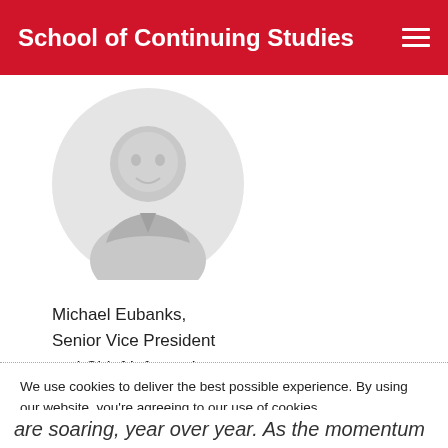School of Continuing Studies
[Figure (photo): Circular profile photo placeholder showing a silhouette of a person, light gray background]
Michael Eubanks,
Senior Vice President
and Chief Information
Officer, LCBO
We use cookies to deliver the best possible experience. By using our website, you're agreeing to our use of cookies.
More information >
Accept
are soaring, year over year. As the momentum